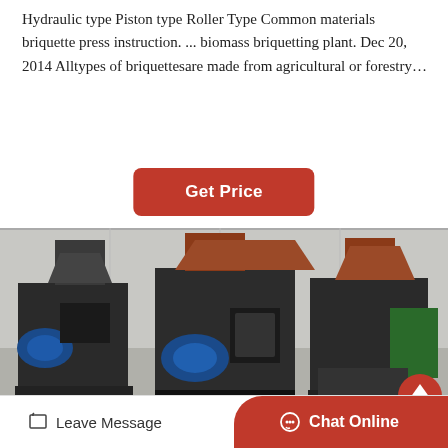Hydraulic type Piston type Roller Type Common materials briquette press instruction. ... biomass briquetting plant. Dec 20, 2014 Alltypes of briquettesare made from agricultural or forestry…
[Figure (other): Red rounded button with white bold text 'Get Price']
[Figure (photo): Industrial briquette press machines in a warehouse/factory setting. Multiple large dark-grey roller-type briquetting machines with blue electric motors and red/orange hopper tops are visible.]
Leave Message
Chat Online